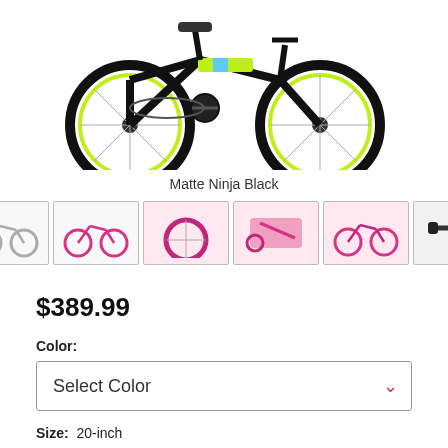[Figure (photo): Black kids' bicycle (Matte Ninja Black) shown from the side, with lime green wheel accents and colorful frame design, against white background.]
Matte Ninja Black
[Figure (photo): Thumbnail gallery row showing 8 bike images with left/right navigation arrows. First thumbnail (active/selected) shows the black bike; remaining thumbnails show a pink/magenta variant from various angles.]
$389.99
Color:
Select Color
Size:  20-inch